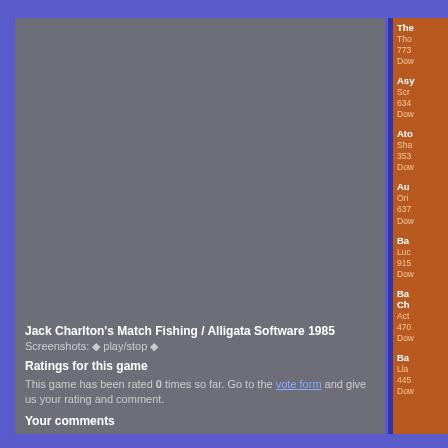[Figure (screenshot): Screenshot/animation area for Jack Charlton's Match Fishing game, dark grey background]
Jack Charlton's Match Fishing / Alligata Software 1985
Screenshots: ◆ play/stop ◆
Ratings for this game
This game has been rated 0 times so far. Go to the vote form and give us your rating and comment.
Your comments
There are no comments for this game yet. To add a comment, click on the vote form link above.
» Back to the game
The
Tho
773
Dow
Asy
Scr
634
Dow
Ato
Sha
353
Dow
Au
Ori
637
Dow
Ba
Luc
915
Dow
Ba
Ch
Act
470
Dow
Ba
Lla
445
Dow